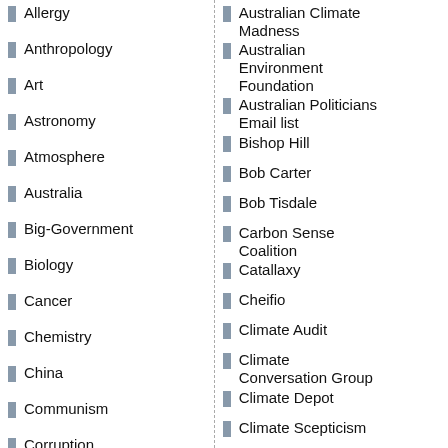Allergy
Anthropology
Art
Astronomy
Atmosphere
Australia
Big-Government
Biology
Cancer
Chemistry
China
Communism
Corruption
Cost
Country
Cryosphere
Diet
Economics
Election security
Electricity
Emissions
Australian Climate Madness
Australian Environment Foundation
Australian Politicians Email list
Bishop Hill
Bob Carter
Bob Tisdale
Carbon Sense Coalition
Catallaxy
Cheifio
Climate Audit
Climate Conversation Group
Climate Depot
Climate Scepticism
Climate-Resistance
Climate4You
ClimateChangeDispatch